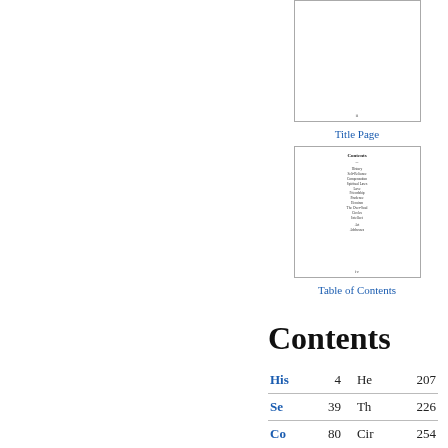[Figure (screenshot): Thumbnail of Title Page showing a mostly blank white page with a small page number at the bottom]
Title Page
[Figure (screenshot): Thumbnail of Table of Contents page showing 'Contents' heading and a list of chapter entries with a page number at the bottom]
Table of Contents
Contents
| His | 4 | He | 207 |
| Se | 39 | Th | 226 |
| Co | 80 | Cir | 254 |